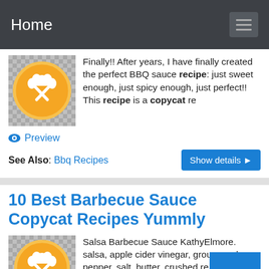Home
Finally!! After years, I have finally created the perfect BBQ sauce recipe: just sweet enough, just spicy enough, just perfect!! This recipe is a copycat re
Preview
See Also: Bbq Recipes
Show details
10 Best Barbecue Sauce Copycat Recipes Yummly
Salsa Barbecue Sauce KathyElmore. salsa, apple cider vinegar, grou red pepper, salt, butter, crushed red